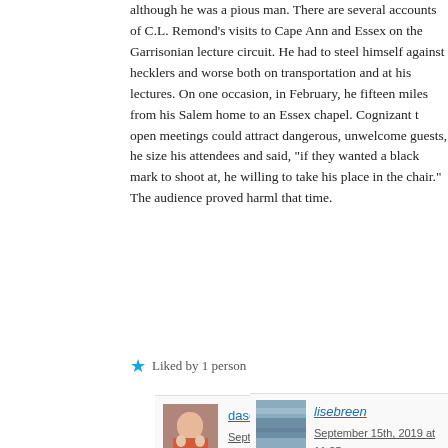although he was a pious man. There are several accounts of C.L. Remond's visits to Cape Ann and Essex on the Garrisonian lecture circuit. He had to steel himself against hecklers and worse both on transportation and at his lectures. On one occasion, in February, he fifteen miles from his Salem home to an Essex chapel. Cognizant t open meetings could attract dangerous, unwelcome guests, he size his attendees and said, “if they wanted a black mark to shoot at, he willing to take his place in the chair.” The audience proved harml that time.
Liked by 1 person
daseger
September 15th, 2019 at 7:54 pm
Lise, I took it as just a reference to the bacchanalian nature feast but tell me if I’m wrong! God, I know, Charles was so brave and sacrificed so much.
Like
lisebreen
September 15th, 2019 at 11:25 pm